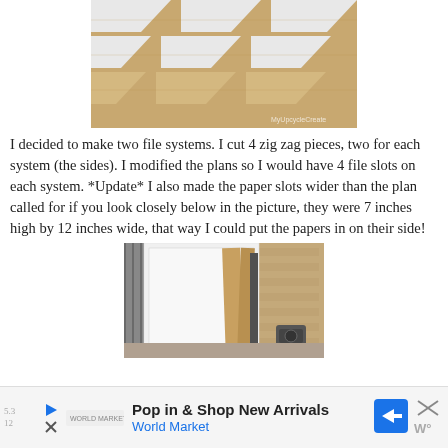[Figure (photo): Photo of zig zag cut wooden pieces laid flat, showing triangular shapes with white painted sides on a light background. Watermark reads 'MyUpcycleCreate' in bottom right corner.]
I decided to make two file systems.  I cut 4 zig zag pieces, two for each system (the sides).  I modified the plans so I would have 4 file slots on each system. *Update* I also made the paper slots wider than the plan called for if you look closely below in the picture, they were 7 inches high by 12 inches wide, that way I could put the papers in on their side!
[Figure (photo): Photo of white painted large board leaning against a wall, with several wooden planks and boards leaning nearby. Workshop/garage setting with OSB wall visible, and a saw on the floor.]
Pop in & Shop New Arrivals
World Market